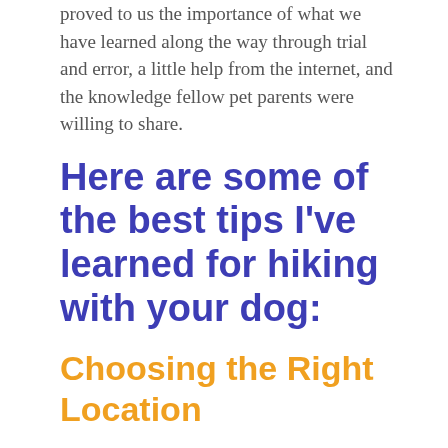proved to us the importance of what we have learned along the way through trial and error, a little help from the internet, and the knowledge fellow pet parents were willing to share.
Here are some of the best tips I've learned for hiking with your dog:
Choosing the Right Location
When preparing to go on a hike, the first thing I always do is log on to All